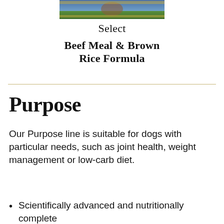[Figure (photo): Partial view of a dog food product bag showing an image of a dog in a field, cropped at the top of the page]
Select
Beef Meal & Brown Rice Formula
Purpose
Our Purpose line is suitable for dogs with particular needs, such as joint health, weight management or low-carb diet.
Scientifically advanced and nutritionally complete